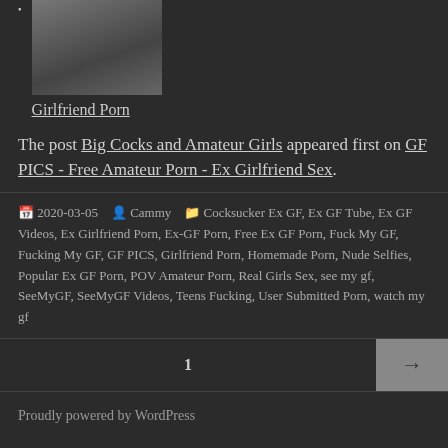Girlfriend Porn
The post Big Cocks and Amateur Girls appeared first on GF PICS - Free Amateur Porn - Ex Girlfriend Sex.
2020-03-05  Cammy  Cocksucker Ex GF, Ex GF Tube, Ex GF Videos, Ex Girlfriend Porn, Ex-GF Porn, Free Ex GF Porn, Fuck My GF, Fucking My GF, GF PICS, Girlfriend Porn, Homemade Porn, Nude Selfies, Popular Ex GF Porn, POV Amateur Porn, Real Girls Sex, see my gf, SeeMyGF, SeeMyGF Videos, Teens Fucking, User Submitted Porn, watch my gf
1
Proudly powered by WordPress